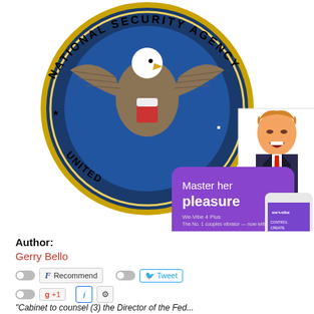[Figure (illustration): NSA (National Security Agency) seal/logo overlaid with a Trump bobblehead figurine dressed in suit with red tie on the left, and a We-Vibe 4 Plus adult product advertisement on the right showing 'Master her pleasure' text with a smartphone app image.]
Author:
Gerry Bello
[Figure (infographic): Social sharing bar with toggle switches, Facebook Recommend button, Tweet button (Twitter bird icon), Google +1 button, info (i) button, and gear/settings button.]
"Cabinet to counsel (3) the Director of the Fed...